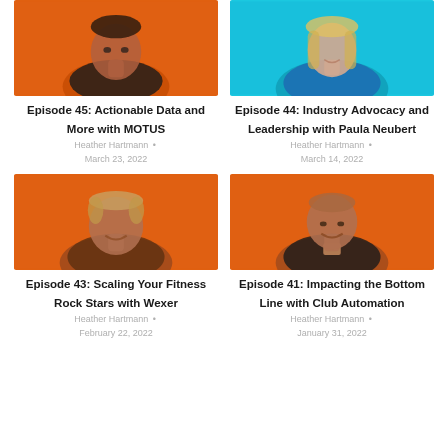[Figure (photo): Man with dark hair on orange background - Episode 45 thumbnail]
Episode 45: Actionable Data and More with MOTUS
Heather Hartmann • March 23, 2022
[Figure (photo): Woman with blonde hair on cyan/blue background - Episode 44 thumbnail]
Episode 44: Industry Advocacy and Leadership with Paula Neubert
Heather Hartmann • March 14, 2022
[Figure (photo): Man with light hair smiling on orange background - Episode 43 thumbnail]
Episode 43: Scaling Your Fitness Rock Stars with Wexer
Heather Hartmann • February 22, 2022
[Figure (photo): Bald man smiling on orange background - Episode 41 thumbnail]
Episode 41: Impacting the Bottom Line with Club Automation
Heather Hartmann • January 31, 2022